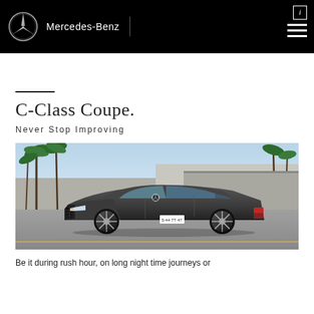Mercedes-Benz
C-Class Coupe.
Never Stop Improving
[Figure (photo): Mercedes-Benz C-Class Coupe dark grey car parked on a street with palm trees in the background, front three-quarter view]
Be it during rush hour, on long night time journeys or